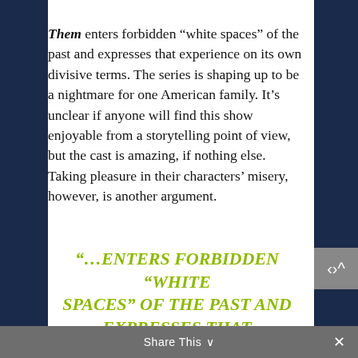Them enters forbidden “white spaces” of the past and expresses that experience on its own divisive terms. The series is shaping up to be a nightmare for one American family. It’s unclear if anyone will find this show enjoyable from a storytelling point of view, but the cast is amazing, if nothing else. Taking pleasure in their characters’ misery, however, is another argument.
“…ENTERS FORBIDDEN “WHITE SPACES” OF THE PAST AND EXPRESSES THAT EXPERIENCE ON ITS OWN DIVISIVE TERMS.”
Share This ∨ ×